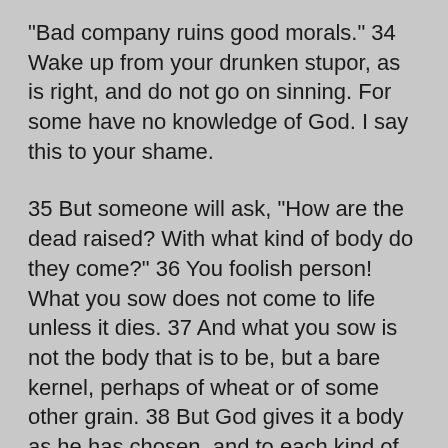“Bad company ruins good morals.” 34 Wake up from your drunken stupor, as is right, and do not go on sinning. For some have no knowledge of God. I say this to your shame.
35 But someone will ask, “How are the dead raised? With what kind of body do they come?” 36 You foolish person! What you sow does not come to life unless it dies. 37 And what you sow is not the body that is to be, but a bare kernel, perhaps of wheat or of some other grain. 38 But God gives it a body as he has chosen, and to each kind of seed its own body. 39 For not all flesh is the same, but there is one kind for humans, another for animals, another for birds, and another for fish. 40 There are heavenly bodies and earthly bodies, but the glory of the heavenly is of one kind, and the glory of the earthly is of another. 41 There is one glory of the